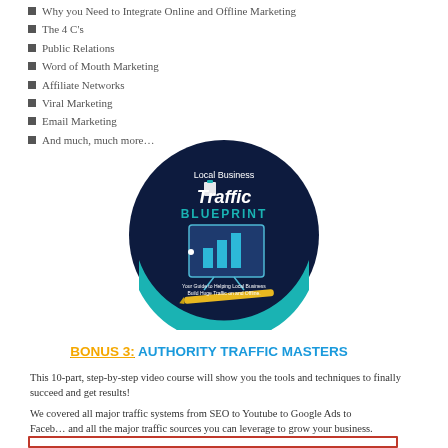Why you Need to Integrate Online and Offline Marketing
The 4 C's
Public Relations
Word of Mouth Marketing
Affiliate Networks
Viral Marketing
Email Marketing
And much, much more…
[Figure (illustration): Local Business Traffic Blueprint circular logo/book cover with dark navy blue background, bar chart graphic on presentation board, text reading 'Local Business Traffic Blueprint' and subtitle 'Your Guide to Helping Local Business Build Huge Traffic on and Offline.' with a pencil graphic at the bottom.]
BONUS 3: AUTHORITY TRAFFIC MASTERS
This 10-part, step-by-step video course will show you the tools and techniques to finally succeed and get results!
We covered all major traffic systems from SEO to Youtube to Google Ads to Facebook and all the major traffic sources you can leverage to grow your business.